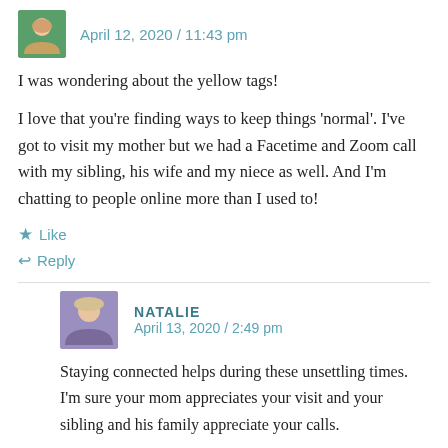April 12, 2020 / 11:43 pm
I was wondering about the yellow tags!
I love that you're finding ways to keep things 'normal'. I've got to visit my mother but we had a Facetime and Zoom call with my sibling, his wife and my niece as well. And I'm chatting to people online more than I used to!
★ Like
↩ Reply
NATALIE
April 13, 2020 / 2:49 pm
Staying connected helps during these unsettling times. I'm sure your mom appreciates your visit and your sibling and his family appreciate your calls.